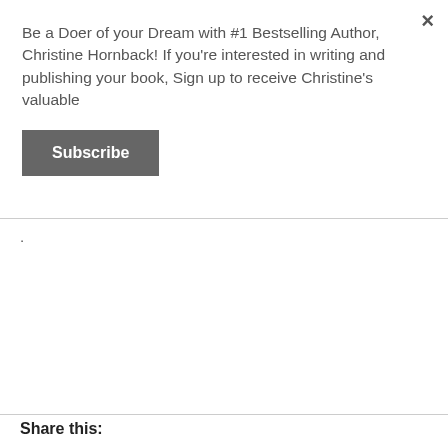×
Be a Doer of your Dream with #1 Bestselling Author, Christine Hornback! If you're interested in writing and publishing your book, Sign up to receive Christine's valuable
Subscribe
.
Share this: